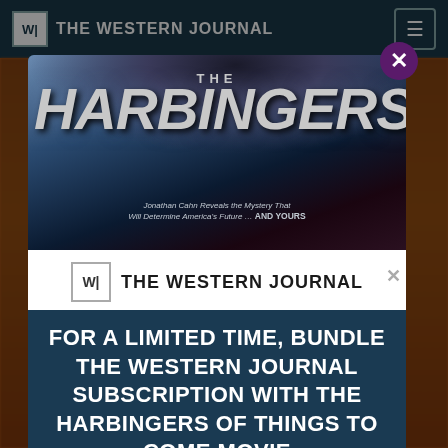THE WESTERN JOURNAL
[Figure (screenshot): Modal popup advertisement for 'The Harbingers of Things to Come' movie bundle with The Western Journal subscription. Dark blue modal with movie poster at top showing dramatic smoke and title text, followed by The Western Journal logo, and promotional text.]
FOR A LIMITED TIME, BUNDLE THE WESTERN JOURNAL SUBSCRIPTION WITH THE HARBINGERS OF THINGS TO COME MOVIE